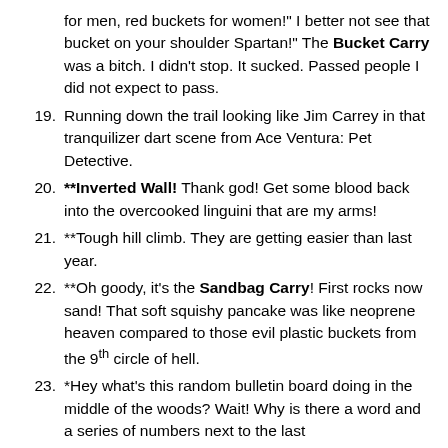for men, red buckets for women!" I better not see that bucket on your shoulder Spartan!" The Bucket Carry was a bitch. I didn't stop. It sucked. Passed people I did not expect to pass.
19. Running down the trail looking like Jim Carrey in that tranquilizer dart scene from Ace Ventura: Pet Detective.
20. **Inverted Wall! Thank god! Get some blood back into the overcooked linguini that are my arms!
21. **Tough hill climb. They are getting easier than last year.
22. **Oh goody, it's the Sandbag Carry! First rocks now sand! That soft squishy pancake was like neoprene heaven compared to those evil plastic buckets from the 9th circle of hell.
23. *Hey what's this random bulletin board doing in the middle of the woods? Wait! Why is there a word and a series of numbers next to the last